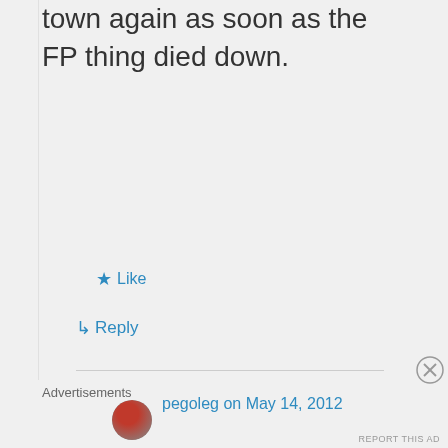town again as soon as the FP thing died down.
★ Like
↳ Reply
pegoleg on May 14, 2012
Advertisements
REPORT THIS AD